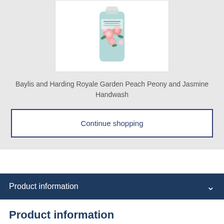[Figure (photo): Product image of Baylis and Harding Royale Garden Peach Peony and Jasmine Handwash bottle with floral design, shown in a white bordered box on a light grey background]
Baylis and Harding Royale Garden Peach Peony and Jasmine Handwash
Continue shopping
Product information
Product information
Make bathtimes as fun as they are relaxing with Baylis